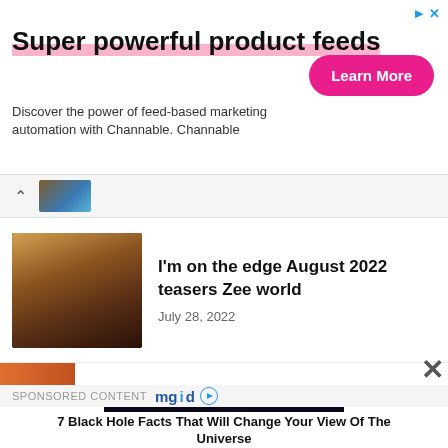[Figure (other): Advertisement banner for Channable with pink 'Learn More' button. Title: Super powerful product feeds. Subtitle: Discover the power of feed-based marketing automation with Channable. Channable]
[Figure (photo): Thumbnail image of two people in a romantic/dramatic scene from Indian TV show]
I'm on the edge August 2022 teasers Zee world
July 28, 2022
[Figure (photo): Sponsored content image of a black hole in space — swirling galaxy with dark center]
7 Black Hole Facts That Will Change Your View Of The Universe